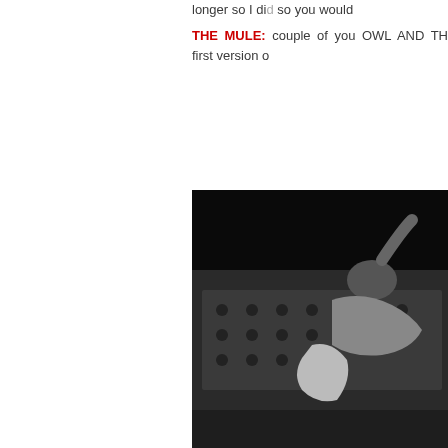longer so I di... so you would...
THE MULE: ...couple of you... OWL AND TH... first version o...
[Figure (photo): Black and white photograph of a person lying on a patterned bed or couch, partially draped with fabric, with one arm raised.]